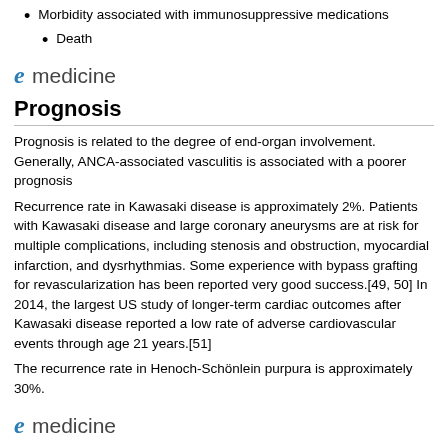Morbidity associated with immunosuppressive medications
Death
[Figure (logo): eMedicine logo with stylized italic e in blue and 'medicine' in grey]
Prognosis
Prognosis is related to the degree of end-organ involvement. Generally, ANCA-associated vasculitis is associated with a poorer prognosis
Recurrence rate in Kawasaki disease is approximately 2%. Patients with Kawasaki disease and large coronary aneurysms are at risk for multiple complications, including stenosis and obstruction, myocardial infarction, and dysrhythmias. Some experience with bypass grafting for revascularization has been reported very good success.[49, 50] In 2014, the largest US study of longer-term cardiac outcomes after Kawasaki disease reported a low rate of adverse cardiovascular events through age 21 years.[51]
The recurrence rate in Henoch-Schönlein purpura is approximately 30%.
[Figure (logo): eMedicine logo with stylized italic e in blue and 'medicine' in grey]
Patient Education
Patients receiving corticosteroids should be advised of possible side effects, including weight gain, sleep disturbance, hirsutism, glucose intolerance, and hypertension.